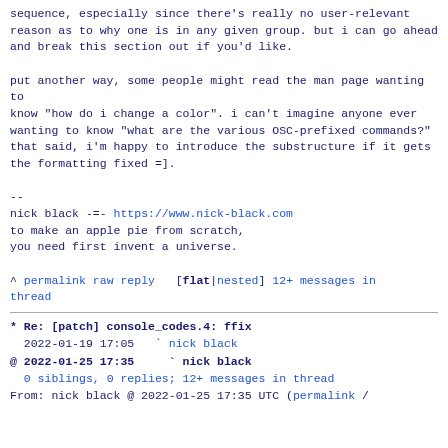sequence, especially since there's really no user-relevant
reason as to why one is in any given group. but i can go ahead
and break this section out if you'd like.

put another way, some people might read the man page wanting to
know "how do i change a color". i can't imagine anyone ever
wanting to know "what are the various OSC-prefixed commands?"
that said, i'm happy to introduce the substructure if it gets
the formatting fixed =].
--
nick black -=- https://www.nick-black.com
to make an apple pie from scratch,
you need first invent a universe.
^ permalink raw reply   [flat|nested] 12+ messages in thread
* Re: [patch] console_codes.4: ffix
  2022-01-19 17:05   ` nick black
@ 2022-01-25 17:35     ` nick black
  0 siblings, 0 replies; 12+ messages in thread
From: nick black @ 2022-01-25 17:35 UTC (permalink /